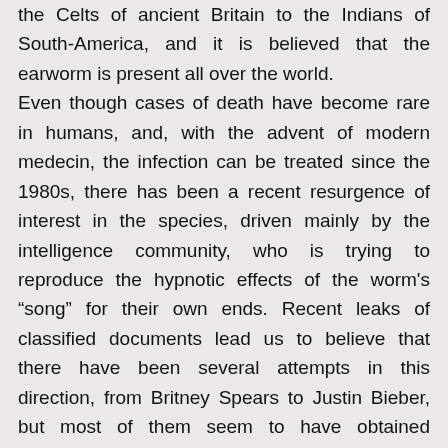the Celts of ancient Britain to the Indians of South-America, and it is believed that the earworm is present all over the world. Even though cases of death have become rare in humans, and, with the advent of modern medecin, the infection can be treated since the 1980s, there has been a recent resurgence of interest in the species, driven mainly by the intelligence community, who is trying to reproduce the hypnotic effects of the worm's “song” for their own ends. Recent leaks of classified documents lead us to believe that there have been several attempts in this direction, from Britney Spears to Justin Bieber, but most of them seem to have obtained mediocre results at best.